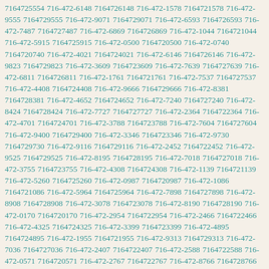7164725554 716-472-6148 7164726148 716-472-1578 7164721578 716-472-9555 7164729555 716-472-9071 7164729071 716-472-6593 7164726593 716-472-7487 7164727487 716-472-6869 7164726869 716-472-1044 7164721044 716-472-5915 7164725915 716-472-0500 7164720500 716-472-0740 7164720740 716-472-4021 7164724021 716-472-6146 7164726146 716-472-9823 7164729823 716-472-3609 7164723609 716-472-7639 7164727639 716-472-6811 7164726811 716-472-1761 7164721761 716-472-7537 7164727537 716-472-4408 7164724408 716-472-9666 7164729666 716-472-8381 7164728381 716-472-4652 7164724652 716-472-7240 7164727240 716-472-8424 7164728424 716-472-7727 7164727727 716-472-2364 7164722364 716-472-4701 7164724701 716-472-3788 7164723788 716-472-7604 7164727604 716-472-9400 7164729400 716-472-3346 7164723346 716-472-9730 7164729730 716-472-9116 7164729116 716-472-2452 7164722452 716-472-9525 7164729525 716-472-8195 7164728195 716-472-7018 7164727018 716-472-3755 7164723755 716-472-4308 7164724308 716-472-1139 7164721139 716-472-5260 7164725260 716-472-0987 7164720987 716-472-1086 7164721086 716-472-5964 7164725964 716-472-7898 7164727898 716-472-8908 7164728908 716-472-3078 7164723078 716-472-8190 7164728190 716-472-0170 7164720170 716-472-2954 7164722954 716-472-2466 7164722466 716-472-4325 7164724325 716-472-3399 7164723399 716-472-4895 7164724895 716-472-1955 7164721955 716-472-9313 7164729313 716-472-7036 7164727036 716-472-2407 7164722407 716-472-2588 7164722588 716-472-0571 7164720571 716-472-2767 7164722767 716-472-8766 7164728766 716-472-2295 7164722295 716-472-6897 7164726897 716-472-3749 7164723749 716-472-9447 7164729447 716-